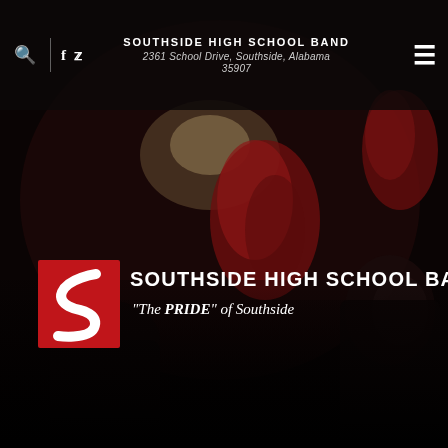SOUTHSIDE HIGH SCHOOL BAND
2361 School Drive, Southside, Alabama 35907
[Figure (photo): Dark background photo of marching band members with red feathered plumes on their hats, viewed from behind, with a spotlight illuminating them from above. The scene is very dark and dramatic.]
SOUTHSIDE HIGH SCHOOL BAND
"The PRIDE" of Southside